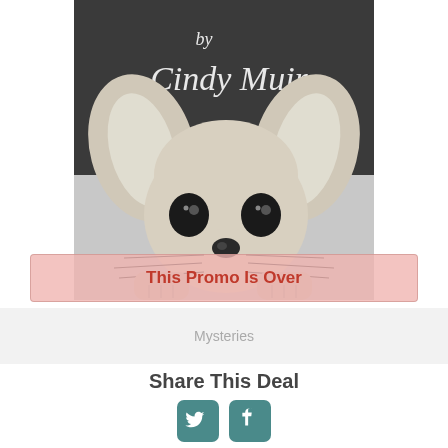[Figure (illustration): Book cover illustration showing a chihuahua dog peeking over a ledge with large ears, big dark eyes and whiskers, against a dark chalkboard background with the text 'by Cindy Muir' written in white chalk-style lettering]
This Promo Is Over
Mysteries
Share This Deal
[Figure (logo): Twitter bird icon and Facebook 'f' icon social media share buttons]